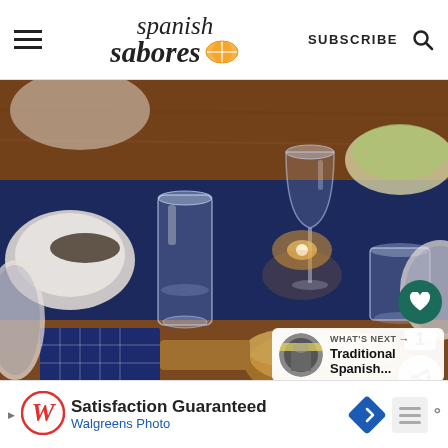Spanish Sabores — SUBSCRIBE
[Figure (photo): A Spanish dining table set with glasses of water and wine, candles, blue patterned tablecloth, bread basket, and dishes with food in the background.]
WHAT'S NEXT → Traditional Spanish...
Satisfaction Guaranteed
Walgreens Photo